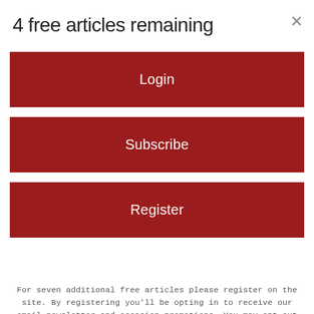4 free articles remaining
Login
Subscribe
Register
For seven additional free articles please register on the site. By registering you'll be opting in to receive our email newsletter and occasion promotions. You may opt out at any time.
Around the Web
[Figure (photo): Partial view of a person's face/head, dark hair visible, background dark, cropped at bottom of page]